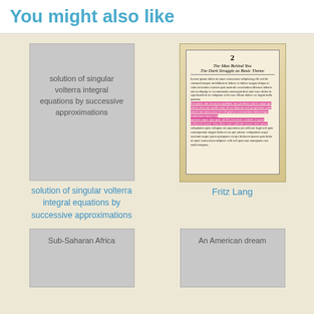You might also like
[Figure (illustration): Gray book cover placeholder with text 'solution of singular volterra integral equations by successive approximations']
solution of singular volterra integral equations by successive approximations
[Figure (photo): Photo of an open book page showing chapter 2 'The Man Behind You: The Dark Struggle as Basic Theme' with pink/magenta highlighted text passages]
Fritz Lang
[Figure (illustration): Gray book cover placeholder with text 'Sub-Saharan Africa']
[Figure (illustration): Gray book cover placeholder with text 'An American dream']